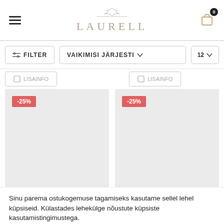LAURELL — e-commerce website header with navigation hamburger menu and shopping cart (0 items)
[Figure (screenshot): Filter bar with FILTER button, VAIKIMISI JÄRJESTI sort dropdown, and 12 per-page dropdown]
[Figure (screenshot): Two product image placeholder cards with -25% discount badges]
Sinu parema ostukogemuse tagamiseks kasutame sellel lehel küpsiseid. Külastades lehekülge nõustute küpsiste kasutamistingimustega.
Loe rohkem
NÕUSTUN